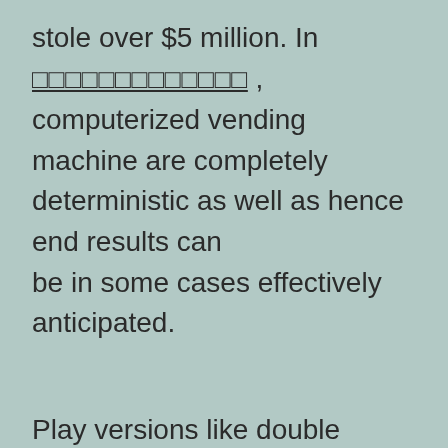stole over $5 million. In [underlined text], computerized vending machine are completely deterministic as well as hence end results can be in some cases effectively anticipated.
Play versions like double exposure and multi hand blackjack instantly. As a basic rule, it’s finest to stick to websites that utilize well-known and also trusted software designers. The Platform of Option for the World’s Leading Companies, with the most games and also range. You can also join Facebook groups and